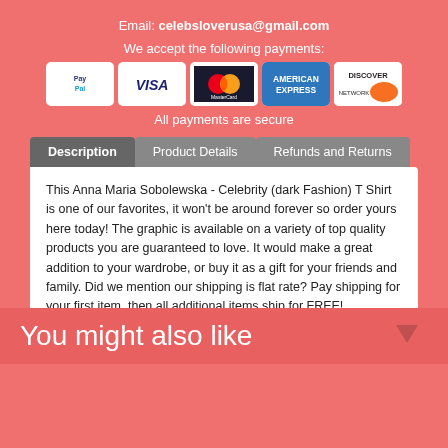Email: celebsloverusa@gmail.com
We accept the following payments:
[Figure (logo): Payment method logos: PayPal, Visa, MasterCard, American Express, Discover]
All payments are secure
Description | Product Details | Refunds and Returns (tabs)
This Anna Maria Sobolewska - Celebrity (dark Fashion) T Shirt is one of our favorites, it won't be around forever so order yours here today! The graphic is available on a variety of top quality products you are guaranteed to love. It would make a great addition to your wardrobe, or buy it as a gift for your friends and family. Did we mention our shipping is flat rate? Pay shipping for your first item, then all additional items ship for FREE!
You might also like